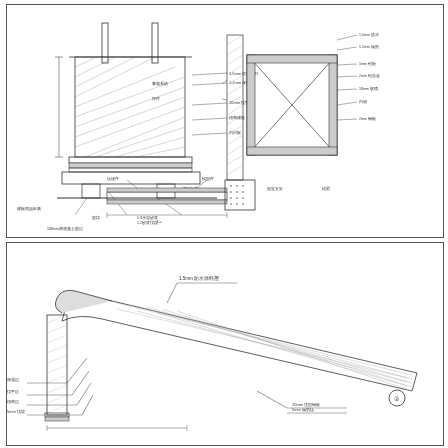[Figure (engineering-diagram): Top panel: Three engineering detail drawings. Left drawing shows a cross-section of a roof/wall junction with hatched concrete/masonry elements, two vertical pipes, and multiple annotation leaders with Chinese text labels. Middle-right drawing shows a window/curtain wall detail in plan view with cross-bracing pattern and numerous Chinese text annotations on both sides. Bottom-center shows a horizontal section detail with dimension lines and labels. All drawings are technical architectural/construction details with dimension lines and Chinese annotation text.]
[Figure (engineering-diagram): Bottom panel: Architectural section/detail drawing of a curved roof or ramp element showing diagonal hatched roofing surface sloping from upper-left to lower-right. The structure shows a curved edge at top-left transitioning to the sloped surface. Multiple dimension lines and Chinese text annotation leaders point to various components. A circled number marker appears at lower right. The drawing depicts construction details of a sloped roof or ramp assembly.]